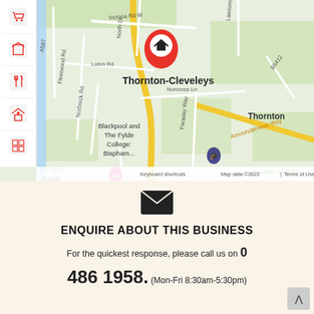[Figure (map): Google Maps screenshot showing Thornton-Cleveleys area with a home/location pin marker. Shows roads including Victoria Rd W, North Dr, Luton Rd, Fleetwood Rd, Norbreck Rd, Norcross Ln, Faraday Way, and Amounderness Way. Landmarks include Blackpool and The Fylde College: Bispham, Premier Inn, Poulton-le-Fylde. Areas shown include Thornton, Little Thornton. Left sidebar has red category icons. Map data ©2022.]
[Figure (illustration): Dark email/envelope icon]
ENQUIRE ABOUT THIS BUSINESS
For the quickest response, please call us on 0
486 1958. (Mon-Fri 8:30am-5:30pm)